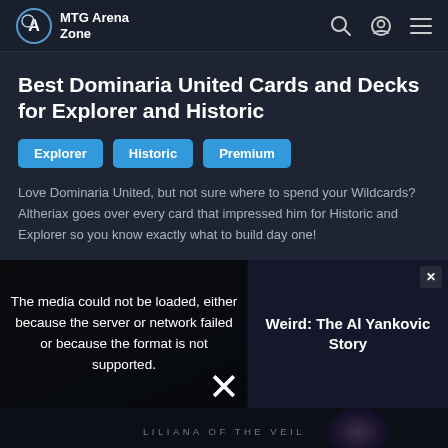MTG Arena Zone
Best Dominaria United Cards and Decks for Explorer and Historic
Explorer
Historic
Premium
Love Dominaria United, but not sure where to spend your Wildcards? Altheriax goes over every card that impressed him for Historic and Explorer so you know exactly what to build day one!
[Figure (screenshot): Media player showing error message: The media could not be loaded, either because the server or network failed or because the format is not supported. Side panel shows ad for 'Weird: The Al Yankovic Story'. Close button (X) visible. Dismiss X at bottom center.]
[Figure (photo): Dark image at bottom showing Liliana of the Veil card art with text 'LILIANA OF THE VEIL']